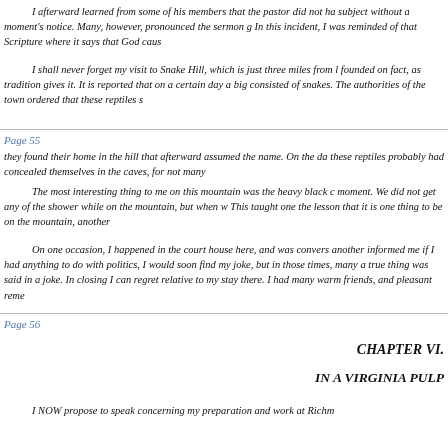I afterward learned from some of his members that the pastor did not ha subject without a moment's notice. Many, however, pronounced the sermon g In this incident, I was reminded of that Scripture where it says that God caus
I shall never forget my visit to Snake Hill, which is just three miles from l founded on fact, as tradition gives it. It is reported that on a certain day a big consisted of snakes. The authorities of the town ordered that these reptiles s
Page 55
they found their home in the hill that afterward assumed the name. On the da these reptiles probably had concealed themselves in the caves, for not many
The most interesting thing to me on this mountain was the heavy black c moment. We did not get any of the shower while on the mountain, but when w This taught one the lesson that it is one thing to be on the mountain, another
On one occasion, I happened in the court house here, and was convers another informed me if I had anything to do with politics, I would soon find my joke, but in those times, many a true thing was said in a joke. In closing I can regret relative to my stay there. I had many warm friends, and pleasant reme
Page 56
CHAPTER VI.
IN A VIRGINIA PULP
I NOW propose to speak concerning my preparation and work at Richm